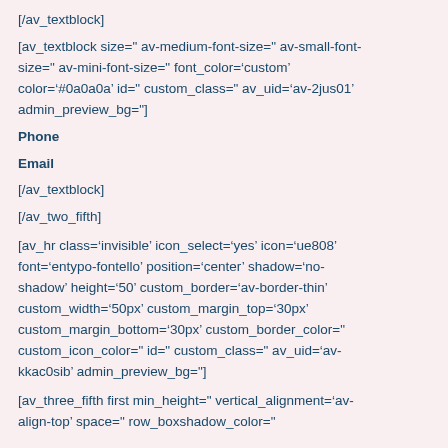[/av_textblock]
[av_textblock size=" av-medium-font-size=" av-small-font-size=" av-mini-font-size=" font_color='custom' color='#0a0a0a' id=" custom_class=" av_uid='av-2jus01' admin_preview_bg="]
Phone
Email
[/av_textblock]
[/av_two_fifth]
[av_hr class='invisible' icon_select='yes' icon='ue808' font='entypo-fontello' position='center' shadow='no-shadow' height='50' custom_border='av-border-thin' custom_width='50px' custom_margin_top='30px' custom_margin_bottom='30px' custom_border_color=" custom_icon_color=" id=" custom_class=" av_uid='av-kkac0sib' admin_preview_bg="]
[av_three_fifth first min_height=" vertical_alignment='av-align-top' space=" row_boxshadow_color="